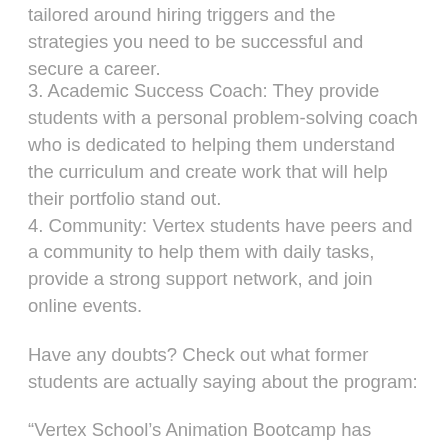tailored around hiring triggers and the strategies you need to be successful and secure a career.
3. Academic Success Coach: They provide students with a personal problem-solving coach who is dedicated to helping them understand the curriculum and create work that will help their portfolio stand out.
4. Community: Vertex students have peers and a community to help them with daily tasks, provide a strong support network, and join online events.
Have any doubts? Check out what former students are actually saying about the program:
“Vertex School’s Animation Bootcamp has